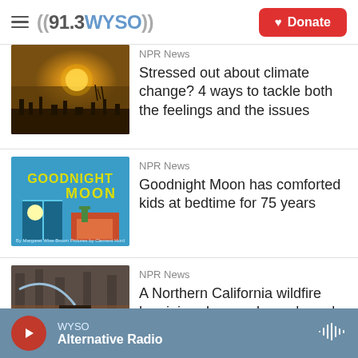((91.3 WYSO)) Donate
NPR News
Stressed out about climate change? 4 ways to tackle both the feelings and the issues
[Figure (photo): A smoky hazy sunset over silhouetted trees and industrial skyline]
NPR News
Goodnight Moon has comforted kids at bedtime for 75 years
[Figure (photo): Book cover of Goodnight Moon on blue background]
NPR News
A Northern California wildfire has injured several people and destroyed homes
[Figure (photo): A wildfire scene with firefighters and burning trees in northern California]
WYSO - Alternative Radio (player bar)